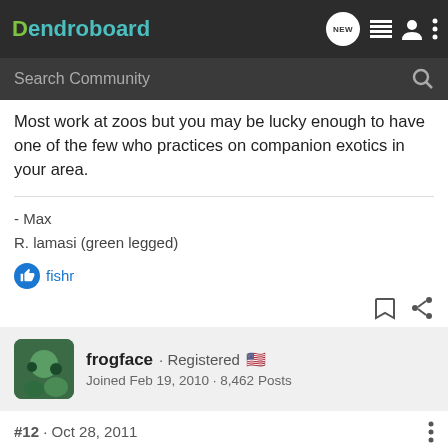Dendroboard — Search Community
Most work at zoos but you may be lucky enough to have one of the few who practices on companion exotics in your area.
- Max
R. lamasi (green legged)
fishr
frogface · Registered
Joined Feb 19, 2010 · 8,462 Posts
#12 · Oct 28, 2011
Jessica, were these guys wild caught? You got them in 12/10